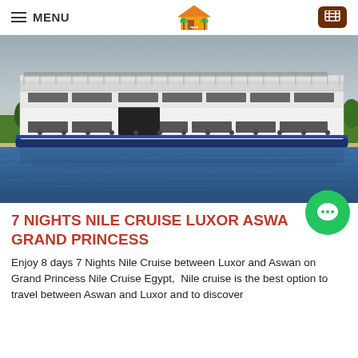MENU
[Figure (photo): A large white multi-deck Nile cruise ship sailing on the Nile River with palm trees and desert landscape in the background.]
7 NIGHTS NILE CRUISE LUXOR ASWAN GRAND PRINCESS
Enjoy 8 days 7 Nights Nile Cruise between Luxor and Aswan on Grand Princess Nile Cruise Egypt, Nile cruise is the best option to travel between Aswan and Luxor and to discover